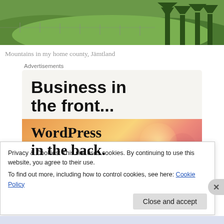[Figure (photo): Photo of mountains with green trees and fields in Jämtland, Sweden]
Mountains in my home county, Jämtland
Advertisements
[Figure (screenshot): Advertisement: 'Business in the front... WordPress in the back.' Top half has dark text on light background, bottom half has colorful gradient background with serif text.]
Privacy & Cookies: This site uses cookies. By continuing to use this website, you agree to their use.
To find out more, including how to control cookies, see here: Cookie Policy
Close and accept